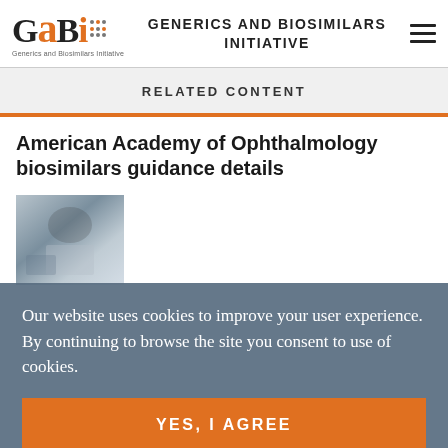[Figure (logo): GaBi (Generics and Biosimilars Initiative) logo with orange accent letters and dot pattern]
GENERICS AND BIOSIMILARS INITIATIVE
RELATED CONTENT
American Academy of Ophthalmology biosimilars guidance details
[Figure (photo): Close-up photo of a medical/ophthalmology procedure]
Our website uses cookies to improve your user experience. By continuing to browse the site you consent to use of cookies.
YES, I AGREE